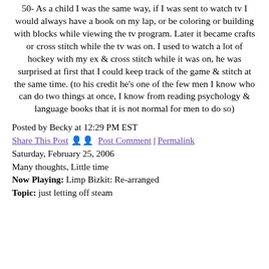50- As a child I was the same way, if I was sent to watch tv I would always have a book on my lap, or be coloring or building with blocks while viewing the tv program. Later it became crafts or cross stitch while the tv was on. I used to watch a lot of hockey with my ex & cross stitch while it was on, he was surprised at first that I could keep track of the game & stitch at the same time. (to his credit he's one of the few men I know who can do two things at once, I know from reading psychology & language books that it is not normal for men to do so)
Posted by Becky at 12:29 PM EST
Share This Post | Post Comment | Permalink
Saturday, February 25, 2006
Many thoughts, Little time
Now Playing: Limp Bizkit: Re-arranged
Topic: just letting off steam